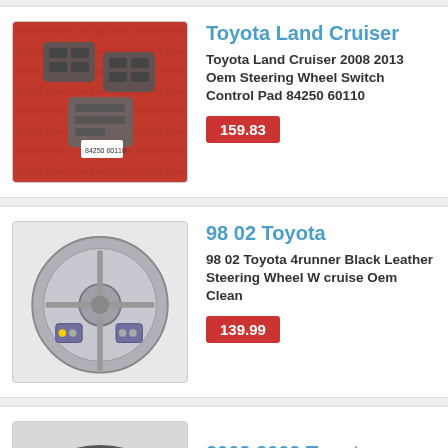[Figure (photo): Toyota Land Cruiser OEM steering wheel switch control pads on red Toyota branded cloth background]
Toyota Land Cruiser
Toyota Land Cruiser 2008 2013 Oem Steering Wheel Switch Control Pad 84250 60110
159.83
[Figure (photo): Grey Toyota 4runner steering wheel with cruise control buttons, OEM clean condition]
98 02 Toyota
98 02 Toyota 4runner Black Leather Steering Wheel W cruise Oem Clean
139.99
[Figure (photo): Partial view of a steering wheel, appears to be a 2003 2009 Toyota model]
2003 2009 Toyota